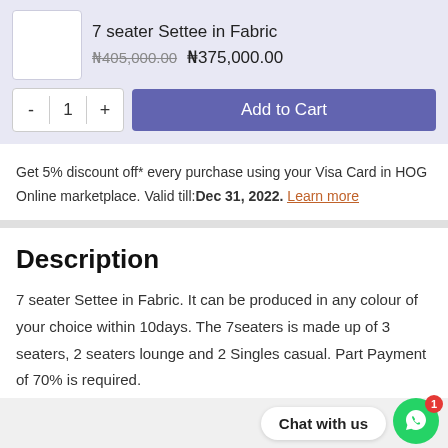7 seater Settee in Fabric
₦405,000.00  ₦375,000.00
Get 5% discount off* every purchase using your Visa Card in HOG Online marketplace. Valid till: Dec 31, 2022. Learn more
Description
7 seater Settee in Fabric. It can be produced in any colour of your choice within 10days. The 7seaters is made up of 3 seaters, 2 seaters lounge and 2 Singles casual. Part Payment of 70% is required.